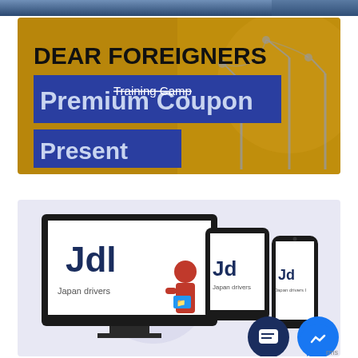[Figure (illustration): Top blue banner image (partial, cropped at top of page)]
[Figure (illustration): Dear Foreigners Premium Coupon Present promotional card with gold/brown background, blue banner text reading 'Premium Coupon' and 'Present', with overlay text 'Training Camp', and light poles illustration on the right.]
[Figure (illustration): Japan Drivers License (JDL) service promotional image on light purple background showing a desktop monitor, tablet, and smartphone displaying the JDL logo and brand, with a person in red dress, a dark navy chat bubble icon, and a blue Facebook Messenger bubble icon. Partial 'rms' text visible at bottom right corner.]